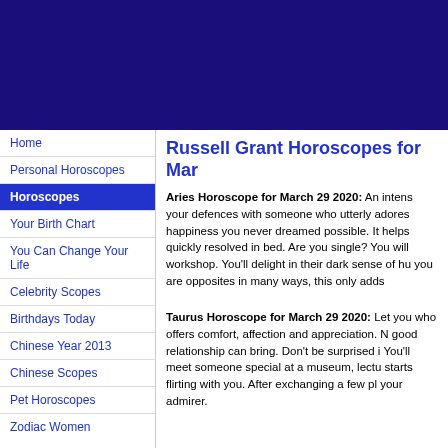[Figure (other): Dark navy/indigo banner header area at top of webpage]
Home
Personal Horoscopes
Horoscopes
Your Birth Chart
You Can Change Your Life
Celebrity Scopes
Birthdays Today
Chinese Year 2013
Chinese Scopes
Pet Horoscopes
Zodiac Women
Russell Grant Horoscopes for Mar
Aries Horoscope for March 29 2020: An intens your defences with someone who utterly adores happiness you never dreamed possible. It helps quickly resolved in bed. Are you single? You will workshop. You'll delight in their dark sense of hu you are opposites in many ways, this only adds
Taurus Horoscope for March 29 2020: Let you who offers comfort, affection and appreciation. N good relationship can bring. Don't be surprised i You'll meet someone special at a museum, lectu starts flirting with you. After exchanging a few pl your admirer.